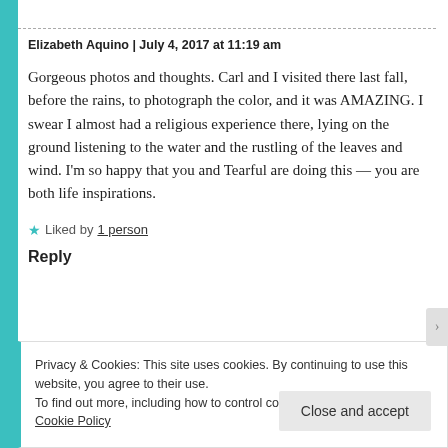Elizabeth Aquino | July 4, 2017 at 11:19 am
Gorgeous photos and thoughts. Carl and I visited there last fall, before the rains, to photograph the color, and it was AMAZING. I swear I almost had a religious experience there, lying on the ground listening to the water and the rustling of the leaves and wind. I'm so happy that you and Tearful are doing this — you are both life inspirations.
★ Liked by 1 person
Reply
Privacy & Cookies: This site uses cookies. By continuing to use this website, you agree to their use. To find out more, including how to control cookies, see here: Cookie Policy
Close and accept